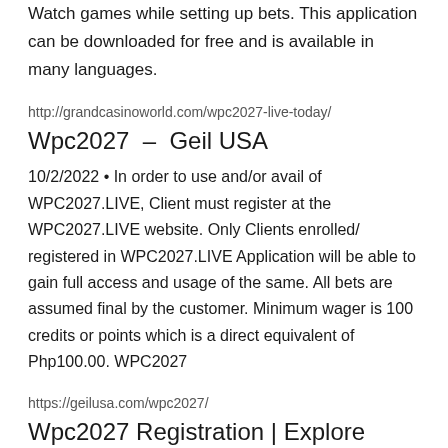Watch games while setting up bets. This application can be downloaded for free and is available in many languages.
http://grandcasinoworld.com/wpc2027-live-today/
Wpc2027 – Geil USA
10/2/2022 • In order to use and/or avail of WPC2027.LIVE, Client must register at the WPC2027.LIVE website. Only Clients enrolled/registered in WPC2027.LIVE Application will be able to gain full access and usage of the same. All bets are assumed final by the customer. Minimum wager is 100 credits or points which is a direct equivalent of Php100.00. WPC2027
https://geilusa.com/wpc2027/
Wpc2027 Registration | Explore